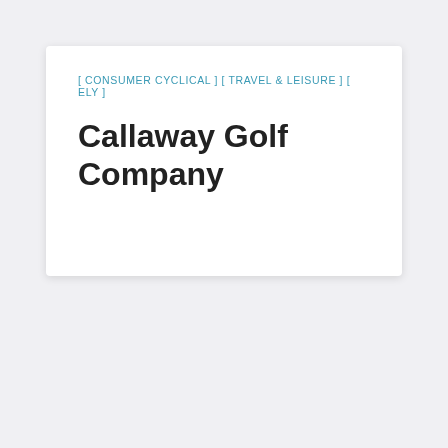[ CONSUMER CYCLICAL ] [ TRAVEL & LEISURE ] [ ELY ]
Callaway Golf Company